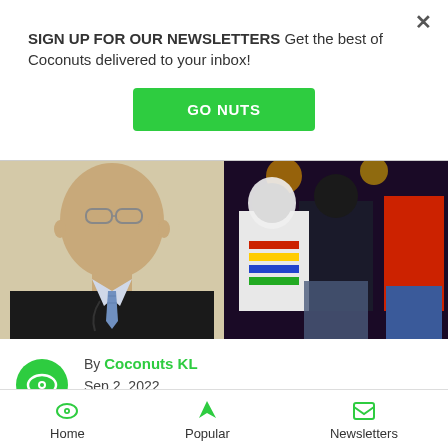SIGN UP FOR OUR NEWSLETTERS Get the best of Coconuts delivered to your inbox!
GO NUTS
[Figure (photo): Left: headshot of an Asian man in a black suit with blue tie and lanyard. Right: performers on stage from behind, one wearing a colorful striped scarf.]
By Coconuts KL
Sep 2, 2022
4:19pm KL time
Home  Popular  Newsletters